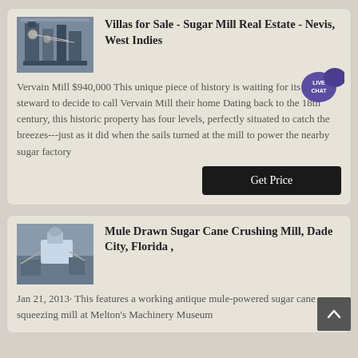[Figure (photo): Industrial sugar mill machinery photo thumbnail]
Villas for Sale - Sugar Mill Real Estate - Nevis, West Indies
Vervain Mill $940,000 This unique piece of history is waiting for its next steward to decide to call Vervain Mill their home Dating back to the 18th century, this historic property has four levels, perfectly situated to catch the breezes---just as it did when the sails turned at the mill to power the nearby sugar factory
[Figure (photo): Mule drawn sugar cane crushing mill photo thumbnail]
Mule Drawn Sugar Cane Crushing Mill, Dade City, Florida ,
Jan 21, 2013· This features a working antique mule-powered sugar cane squeezing mill at Melton's Machinery Museum